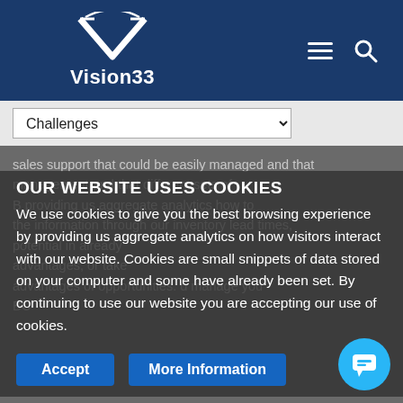[Figure (logo): Vision33 logo: white V shape with text Vision33 below]
Challenges (dropdown selector)
sales support that could be easily managed and that sets of B providing us aggregate analytics how to what the information through our inventory lead times, potential in already advantages, or take advantages of opportunities. d manage your BC
OUR WEBSITE USES COOKIES
We use cookies to give you the best browsing experience by providing us aggregate analytics on how visitors interact with our website. Cookies are small snippets of data stored on your computer and some have already been set. By continuing to use our website you are accepting our use of cookies.
Accept
More Information